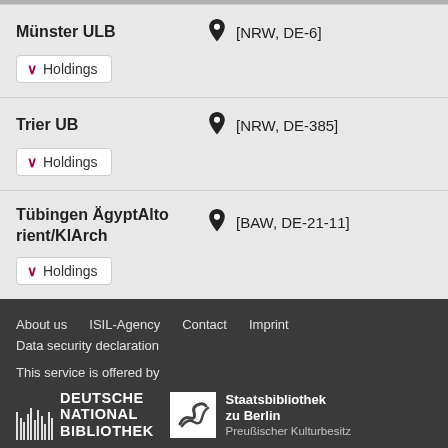Münster ULB [NRW, DE-6] Holdings
Trier UB [NRW, DE-385] Holdings
Tübingen ÄgyptAltorient/KlArch [BAW, DE-21-11] Holdings
About us   ISIL-Agency   Contact   Imprint   Data security declaration

This service is offered by
DEUTSCHE NATIONAL BIBLIOTHEK   Staatsbibliothek zu Berlin Preußischer Kulturbesitz